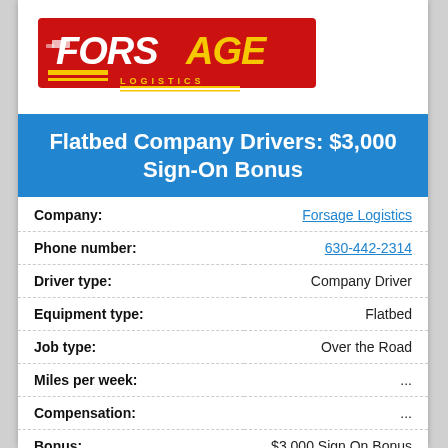[Figure (logo): Forsage Logistics logo — red background with white bold italic text FORSAGE and yellow AGE letters, yellow LOGISTICS text below]
Flatbed Company Drivers: $3,000 Sign-On Bonus
| Field | Value |
| --- | --- |
| Company: | Forsage Logistics |
| Phone number: | 630-442-2314 |
| Driver type: | Company Driver |
| Equipment type: | Flatbed |
| Job type: | Over the Road |
| Miles per week: | ... |
| Compensation: | ... |
| Bonus: | $3,000 Sign On Bonus |
| Home time: | ... |